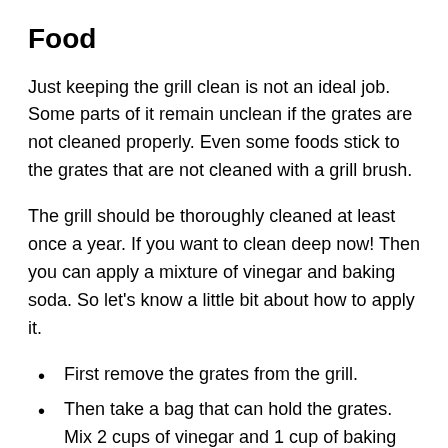Food
Just keeping the grill clean is not an ideal job. Some parts of it remain unclean if the grates are not cleaned properly. Even some foods stick to the grates that are not cleaned with a grill brush.
The grill should be thoroughly cleaned at least once a year. If you want to clean deep now! Then you can apply a mixture of vinegar and baking soda. So let's know a little bit about how to apply it.
First remove the grates from the grill.
Then take a bag that can hold the grates. Mix 2 cups of vinegar and 1 cup of baking soda in it.
After a while, a kind of foam will produce.